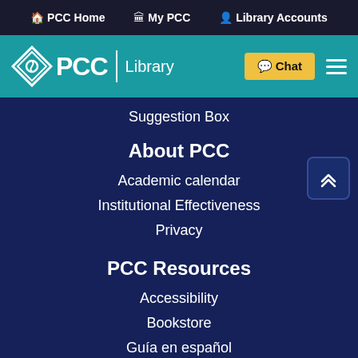PCC Home  My PCC  Library Accounts
[Figure (logo): PCC Library logo with teal header bar, Chat button, and hamburger menu]
Suggestion Box
About PCC
Academic calendar
Institutional Effectiveness
Privacy
PCC Resources
Accessibility
Bookstore
Guía en español
Online learning
[Figure (logo): Portland Community College logo with diamond icon]